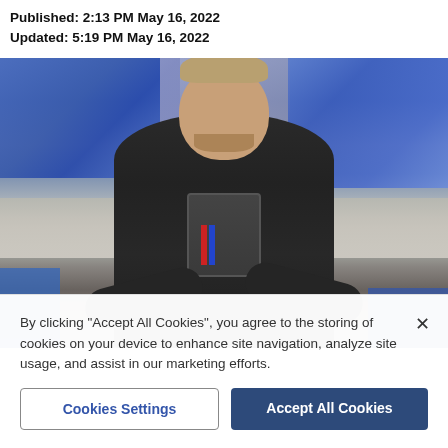Published: 2:13 PM May 16, 2022
Updated: 5:19 PM May 16, 2022
[Figure (photo): Man with blond hair tied back, wearing a black hoodie with crossed arms, standing in front of a stadium with blue seats]
By clicking “Accept All Cookies”, you agree to the storing of cookies on your device to enhance site navigation, analyze site usage, and assist in our marketing efforts.
Cookies Settings
Accept All Cookies